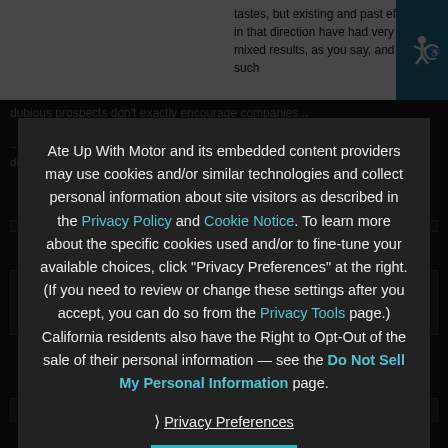tastes, but existing and past efforts in that direction have had very mixed results, as you say, and such dubious prospects don't exactly encourage companies...
...Now it has been 10 years old in some European markets, 8-9 years, and this dialogue now long ago...and these were ventures Export... automobiles...
Andrew Ru... · 7:13 pm
...the Datsun 1400 or 1600, depending on engine displacement. Of course, we got only the 1600 e...
Aaron Severson...
Ate Up With Motor and its embedded content providers may use cookies and/or similar technologies and collect personal information about site visitors as described in the Privacy Policy and Cookie Notice. To learn more about the specific cookies used and/or to fine-tune your available choices, click "Privacy Preferences" at the right. (If you need to review or change these settings after you accept, you can do so from the Privacy Tools page.) California residents also have the Right to Opt-Out of the sale of their personal information — see the Do Not Sell My Personal Information page.
❯ Privacy Preferences
I Agree